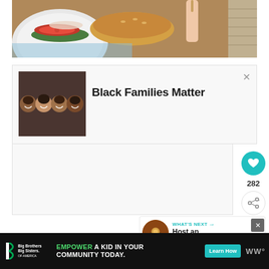[Figure (photo): Overhead shot of food items including a burger with tomato and lettuce on a white plate, bread rolls, and a hand holding a knife, with stacked plates visible on the right side]
[Figure (infographic): Advertisement card with an image of four people (family) lying down smiling, and bold text reading 'Black Families Matter' with an X close button]
282
[Figure (infographic): What's Next panel with a circular food photo and text 'WHAT'S NEXT → Host an Awesome...']
[Figure (infographic): Bottom advertisement banner with Big Brothers Big Sisters logo and text 'EMPOWER A KID IN YOUR COMMUNITY TODAY.' with a 'Learn How' button, and WW logo on the right]